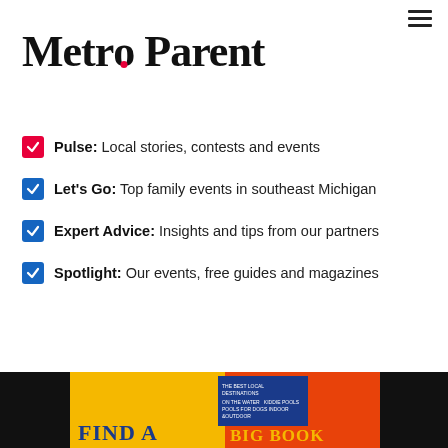[Figure (logo): Metro Parent logo with red dot on the letter 'o' in Metro]
Pulse: Local stories, contests and events
Let's Go: Top family events in southeast Michigan
Expert Advice: Insights and tips from our partners
Spotlight: Our events, free guides and magazines
[Figure (illustration): Orange Sign Up button]
[Figure (photo): Bottom promo banner with dark background showing a book cover with FIND A BIG BOOK text in yellow and blue on yellow/red background]